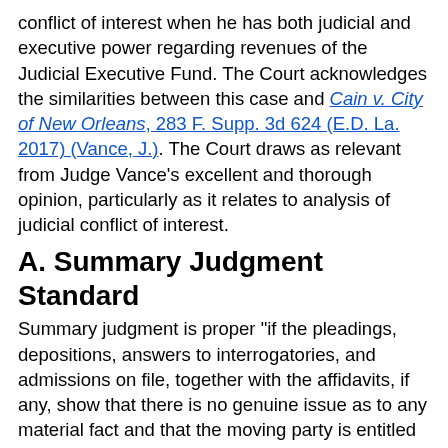conflict of interest when he has both judicial and executive power regarding revenues of the Judicial Executive Fund. The Court acknowledges the similarities between this case and Cain v. City of New Orleans, 283 F. Supp. 3d 624 (E.D. La. 2017) (Vance, J.). The Court draws as relevant from Judge Vance's excellent and thorough opinion, particularly as it relates to analysis of judicial conflict of interest.
A. Summary Judgment Standard
Summary judgment is proper "if the pleadings, depositions, answers to interrogatories, and admissions on file, together with the affidavits, if any, show that there is no genuine issue as to any material fact and that the moving party is entitled to a judgment as a matter of law." Celotex Corp. v. Catrett, 477 U.S. 317, 322 (1986) (citing Fed. R. Civ. P. 56(c)). "Rule 56(c) mandates the entry of summary judgment, after adequate time for discovery and upon motion, against a party who fails to make a showing sufficient to establish the existence of an element essential to that party's case, and on which the party will bear the burden of proof at trial." Id. A party moving for summary judgment bears the initial burden of demonstrating the basis for summary judgment and identifying the portions of the record disclosing an absence